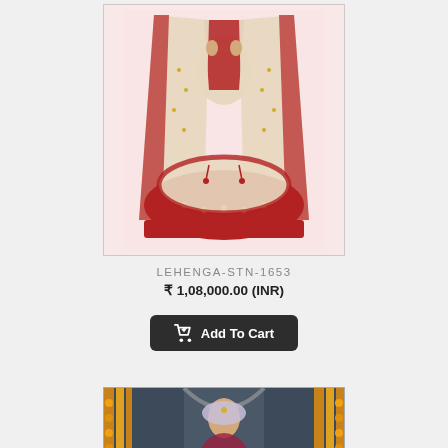[Figure (photo): Bridal lehenga outfit on light pink background - LEHENGA-STN-1653, cream and red embroidered traditional Indian bridal wear]
LEHENGA-STN-1653
₹ 1,08,000.00 (INR)
Add To Cart
[Figure (photo): Bride wearing embroidered lehenga with dupatta, standing in front of a decorative backdrop with marigold flowers]